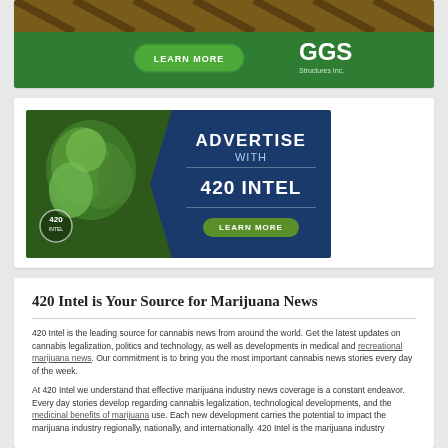[Figure (photo): GGS Structures Inc. advertisement banner with green background, greenhouse roof image, LEARN MORE button, and GGS Structures Inc. logo]
[Figure (photo): 420 Intel advertisement banner showing cannabis plant on left and dark blue right side with ADVERTISE WITH 420 INTEL text and LEARN MORE button]
420 Intel is Your Source for Marijuana News
420 Intel is the leading source for cannabis news from around the world. Get the latest updates on cannabis legalization, politics and technology, as well as developments in medical and recreational marijuana news. Our commitment is to bring you the most important cannabis news stories every day of the week.
At 420 Intel we understand that effective marijuana industry news coverage is a constant endeavor. Every day stories develop regarding cannabis legalization, technological developments, and the medicinal benefits of marijuana use. Each new development carries the potential to impact the marijuana industry regionally, nationally, and internationally. 420 Intel is the marijuana industry